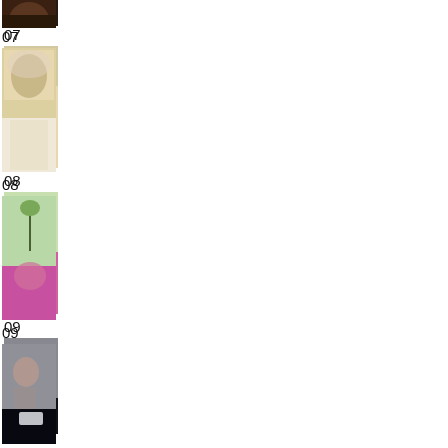[Figure (photo): Partial photo at top of page, cropped — appears to be a close-up of a person's face/shoulder]
07
[Figure (photo): Photo 07: Person wearing white clothing and head covering, elderly figure]
08
[Figure (photo): Photo 08: Child holding a flower/plant, wearing pink clothing]
09
[Figure (photo): Photo 09: Person crouching, holding a white object/paper]
10
[Figure (photo): Photo 10: Aerial or landscape view, possibly a road or waterway with blue tones]
11
[Figure (photo): Photo 11: Two stacked images — top appears brown/tan texture, bottom shows a person with arms outstretched]
12
[Figure (photo): Photo 12: Partial view at bottom — person lying down or reclining]